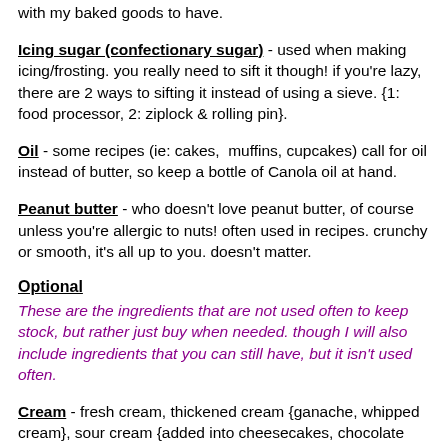with my baked goods to have.
Icing sugar (confectionary sugar) - used when making icing/frosting. you really need to sift it though! if you're lazy, there are 2 ways to sifting it instead of using a sieve. {1: food processor, 2: ziplock & rolling pin}.
Oil - some recipes (ie: cakes,  muffins, cupcakes) call for oil instead of butter, so keep a bottle of Canola oil at hand.
Peanut butter - who doesn't love peanut butter, of course unless you're allergic to nuts! often used in recipes. crunchy or smooth, it's all up to you. doesn't matter.
Optional
These are the ingredients that are not used often to keep stock, but rather just buy when needed. though I will also include ingredients that you can still have, but it isn't used often.
Cream - fresh cream, thickened cream {ganache, whipped cream}, sour cream {added into cheesecakes, chocolate cake}.